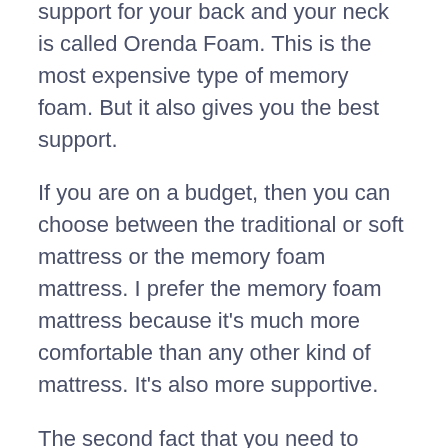support for your back and your neck is called Orenda Foam. This is the most expensive type of memory foam. But it also gives you the best support.
If you are on a budget, then you can choose between the traditional or soft mattress or the memory foam mattress. I prefer the memory foam mattress because it's much more comfortable than any other kind of mattress. It's also more supportive.
The second fact that you need to know is that you can also use these beds as a health and